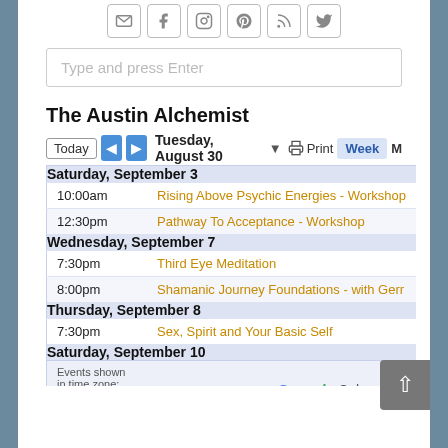[Figure (infographic): Row of social media icon buttons: email, Facebook, Instagram, Pinterest, RSS, Twitter]
Type and press Enter
The Austin Alchemist
Today | < | > | Tuesday, August 30 ▾ | 🖨 Print | Week | M
| Saturday, September 3 |  |
| 10:00am | Rising Above Psychic Energies - Workshop |
| 12:30pm | Pathway To Acceptance - Workshop |
| Wednesday, September 7 |  |
| 7:30pm | Third Eye Meditation |
| 8:00pm | Shamanic Journey Foundations - with Gerr |
| Thursday, September 8 |  |
| 7:30pm | Sex, Spirit and Your Basic Self |
| Saturday, September 10 |  |
Events shown in time zone: Central Time - Chicago
[Figure (logo): Google Calendar logo with + button]